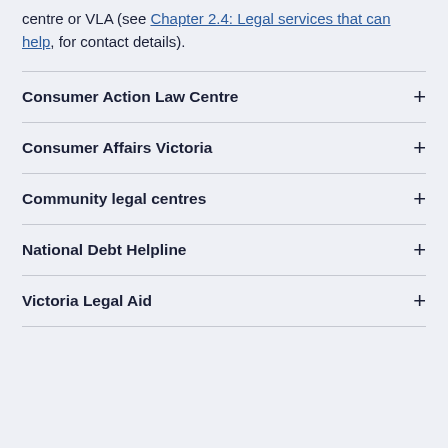centre or VLA (see Chapter 2.4: Legal services that can help, for contact details).
Consumer Action Law Centre
Consumer Affairs Victoria
Community legal centres
National Debt Helpline
Victoria Legal Aid